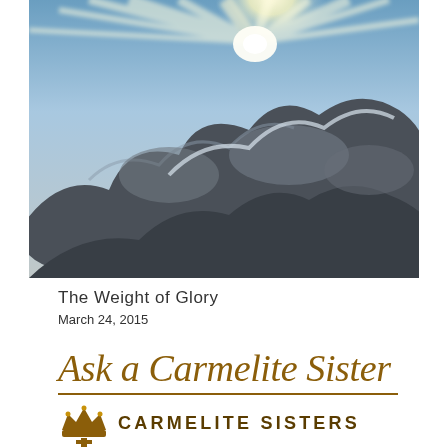[Figure (photo): Dramatic sky photo with sunbeams bursting through large dark storm clouds, bright rays of light radiating upward against a blue sky.]
The Weight of Glory
March 24, 2015
[Figure (logo): Ask a Carmelite Sister logo with script text and Carmelite Sisters emblem featuring a crown and cross beneath it, with the text CARMELITE SISTERS in uppercase.]